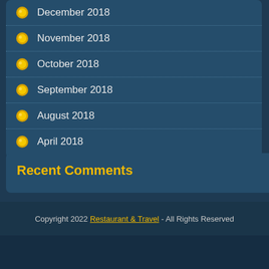December 2018
November 2018
October 2018
September 2018
August 2018
April 2018
Recent Comments
Copyright 2022 Restaurant & Travel - All Rights Reserved